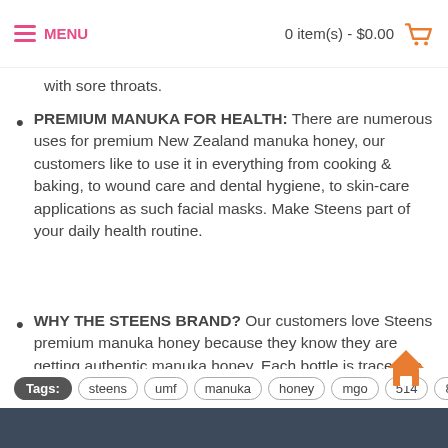MENU   0 item(s) - $0.00
with sore throats.
PREMIUM MANUKA FOR HEALTH: There are numerous uses for premium New Zealand manuka honey, our customers like to use it in everything from cooking & baking, to wound care and dental hygiene, to skin-care applications as such facial masks. Make Steens part of your daily health routine.
WHY THE STEENS BRAND? Our customers love Steens premium manuka honey because they know they are getting authentic manuka honey. Each bottle is traceable back to the hive. Here at Steens we believe every consumer has the right to know where their food has come from, and our traceability program intends to deliver on this belief.
Tags: steens umf manuka honey mgo 514 8.8